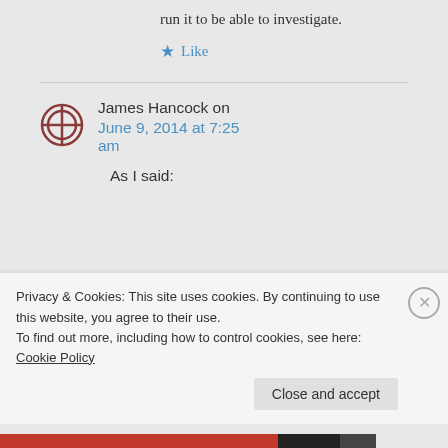run it to be able to investigate.
★ Like
James Hancock on June 9, 2014 at 7:25 am
As I said:
Privacy & Cookies: This site uses cookies. By continuing to use this website, you agree to their use.
To find out more, including how to control cookies, see here: Cookie Policy
Close and accept